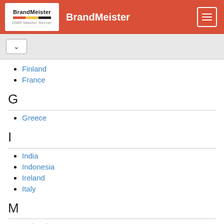BrandMeister
Finland
France
G
Greece
I
India
Indonesia
Ireland
Italy
M
Malaysia